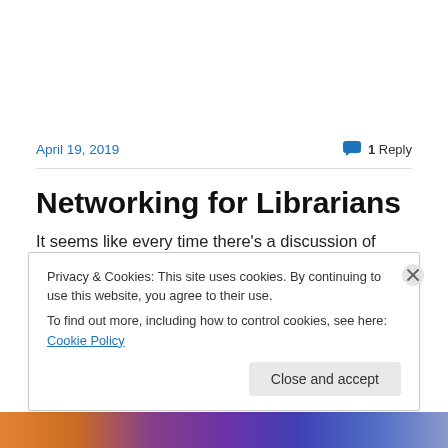April 19, 2019
1 Reply
Networking for Librarians
It seems like every time there’s a discussion of
Privacy & Cookies: This site uses cookies. By continuing to use this website, you agree to their use.
To find out more, including how to control cookies, see here: Cookie Policy
Close and accept